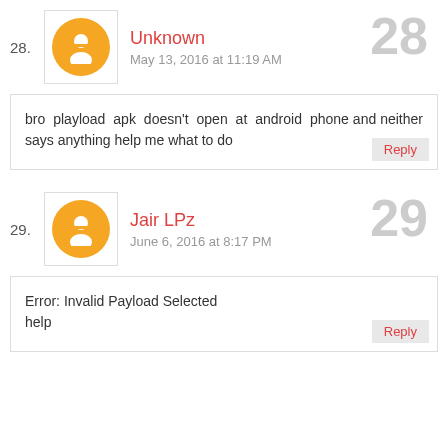28. Unknown — May 13, 2016 at 11:19 AM
bro playload apk doesn't open at android phone and neither says anything help me what to do
29. Jair LPz — June 6, 2016 at 8:17 PM
Error: Invalid Payload Selected
help